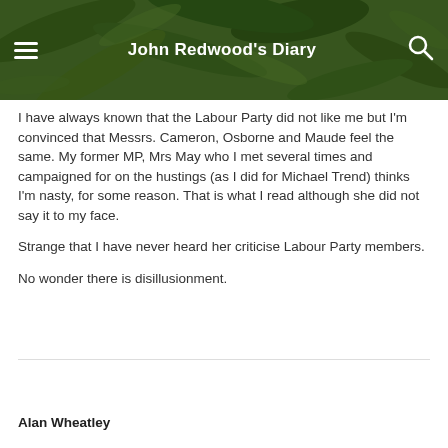John Redwood's Diary
I have always known that the Labour Party did not like me but I'm convinced that Messrs. Cameron, Osborne and Maude feel the same. My former MP, Mrs May who I met several times and campaigned for on the hustings (as I did for Michael Trend) thinks I'm nasty, for some reason. That is what I read although she did not say it to my face.
Strange that I have never heard her criticise Labour Party members.
No wonder there is disillusionment.
Alan Wheatley